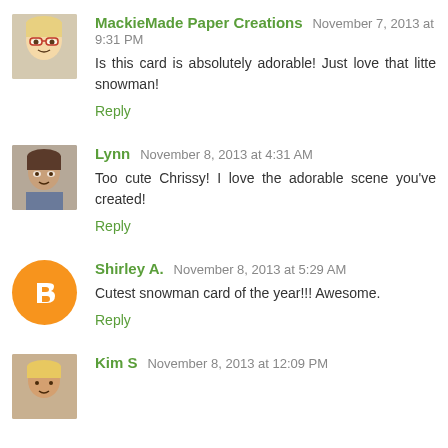MackieMade Paper Creations November 7, 2013 at 9:31 PM
Is this card is absolutely adorable! Just love that litte snowman!
Reply
Lynn November 8, 2013 at 4:31 AM
Too cute Chrissy! I love the adorable scene you've created!
Reply
Shirley A. November 8, 2013 at 5:29 AM
Cutest snowman card of the year!!! Awesome.
Reply
Kim S November 8, 2013 at 12:09 PM